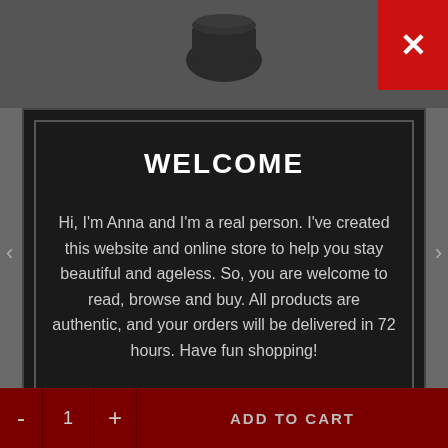[Figure (screenshot): Dark modal overlay on a website showing a welcome message from Anna. Red close button (X) in top-right corner. Bottom bar with quantity controls and Add to Cart button in dark red.]
WELCOME
Hi, I'm Anna and I'm a real person. I've created this website and online store to help you stay beautiful and ageless. So, you are welcome to read, browse and buy. All products are authentic, and your orders will be delivered in 72 hours. Have fun shopping!